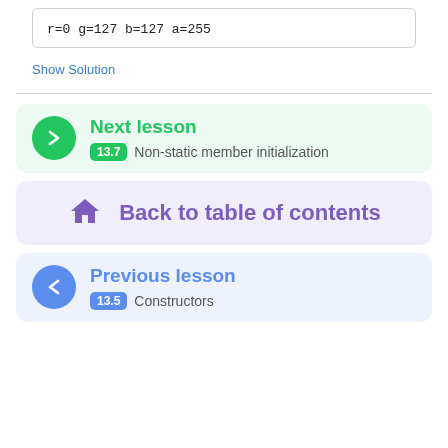r=0 g=127 b=127 a=255
Show Solution
Next lesson 13.7 Non-static member initialization
Back to table of contents
Previous lesson 13.5 Constructors